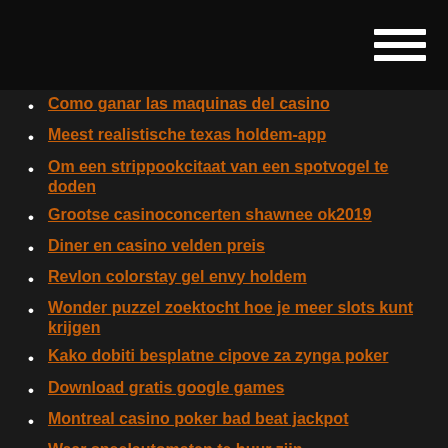Como ganar las maquinas del casino
Meest realistische texas holdem-app
Om een strippookcitaat van een spotvogel te doden
Grootse casinoconcerten shawnee ok2019
Diner en casino velden preis
Revlon colorstay gel envy holdem
Wonder puzzel zoektocht hoe je meer slots kunt krijgen
Kako dobiti besplatne cipove za zynga poker
Download gratis google games
Montreal casino poker bad beat jackpot
Waar speelautomaten te huur zijn
Grosvenor casino stookt op trent poker
Blender python materiaal sleuf verwijderen